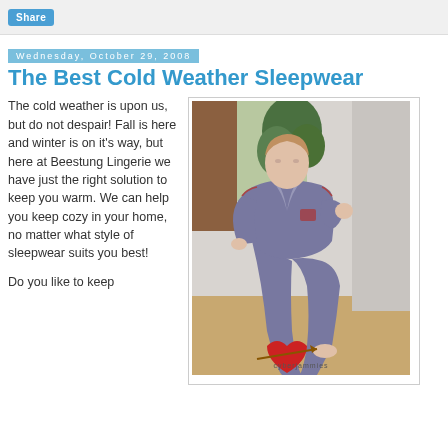Share
Wednesday, October 29, 2008
The Best Cold Weather Sleepwear
The cold weather is upon us, but do not despair! Fall is here and winter is on it's way, but here at Beestung Lingerie we have just the right solution to keep you warm. We can help you keep cozy in your home, no matter what style of sleepwear suits you best!
Do you like to keep
[Figure (photo): Woman sitting in blue/grey striped pajamas with a cyberjammies logo/heart at the bottom of the image]